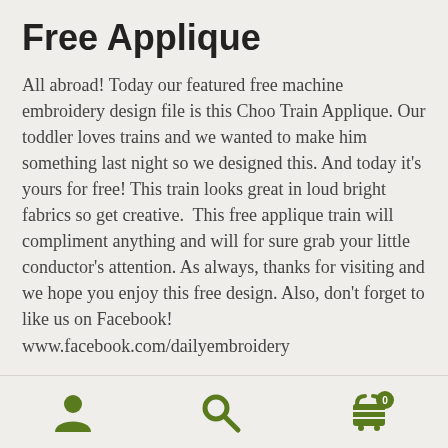Free Applique
All abroad! Today our featured free machine embroidery design file is this Choo Train Applique. Our toddler loves trains and we wanted to make him something last night so we designed this. And today it's yours for free! This train looks great in loud bright fabrics so get creative.  This free applique train will compliment anything and will for sure grab your little conductor's attention. As always, thanks for visiting and we hope you enjoy this free design. Also, don't forget to like us on Facebook! www.facebook.com/dailyembroidery
navigation icons: user, search, cart (0)